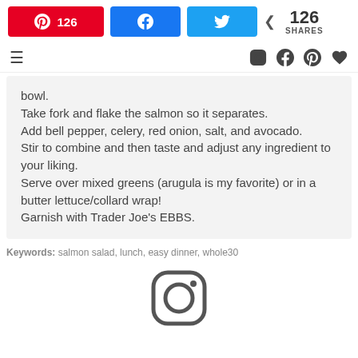126 [Pinterest share] [Facebook share] [Twitter share] < 126 SHARES
bowl.
Take fork and flake the salmon so it separates.
Add bell pepper, celery, red onion, salt, and avocado.
Stir to combine and then taste and adjust any ingredient to your liking.
Serve over mixed greens (arugula is my favorite) or in a butter lettuce/collard wrap!
Garnish with Trader Joe's EBBS.
Keywords: salmon salad, lunch, easy dinner, whole30
[Figure (logo): Instagram camera icon (outline), large centered at bottom of page]